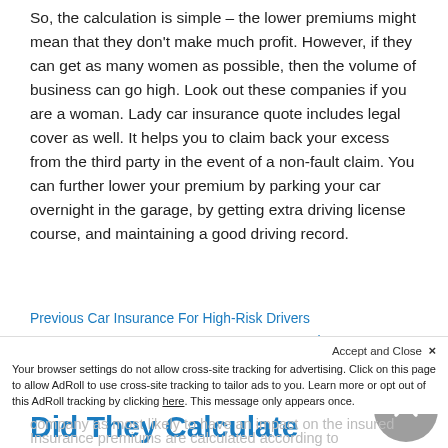So, the calculation is simple – the lower premiums might mean that they don't make much profit. However, if they can get as many women as possible, then the volume of business can go high. Look out these companies if you are a woman. Lady car insurance quote includes legal cover as well. It helps you to claim back your excess from the third party in the event of a non-fault claim. You can further lower your premium by parking your car overnight in the garage, by getting extra driving license course, and maintaining a good driving record.
Previous Car Insurance For High-Risk Drivers
Next Car Insurance How Can I Lower My Premiums?
May 8, 2015
Car Insurance – How Did They Calculate That?
Insurance premiums are calculated according to
Accept and Close ✕
Your browser settings do not allow cross-site tracking for advertising. Click on this page to allow AdRoll to use cross-site tracking to tailor ads to you. Learn more or opt out of this AdRoll tracking by clicking here. This message only appears once.
company as most likely to have an impact on the insured